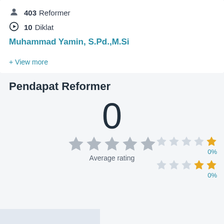403 Reformer
10 Diklat
Muhammad Yamin, S.Pd.,M.Si
+ View more
Pendapat Reformer
[Figure (infographic): Rating display showing 0 with 5 gray stars and Average rating label]
0%
0%